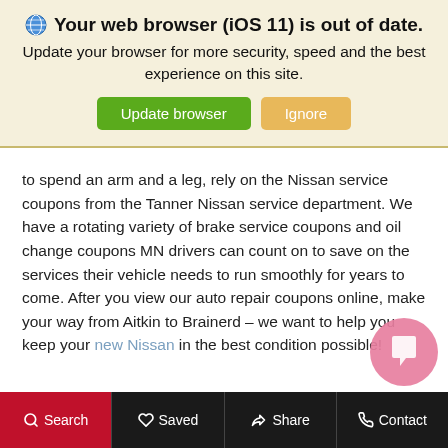Your web browser (iOS 11) is out of date. Update your browser for more security, speed and the best experience on this site. [Update browser] [Ignore]
to spend an arm and a leg, rely on the Nissan service coupons from the Tanner Nissan service department. We have a rotating variety of brake service coupons and oil change coupons MN drivers can count on to save on the services their vehicle needs to run smoothly for years to come. After you view our auto repair coupons online, make your way from Aitkin to Brainerd – we want to help you keep your new Nissan in the best condition possible!
Search  Saved  Share  Contact